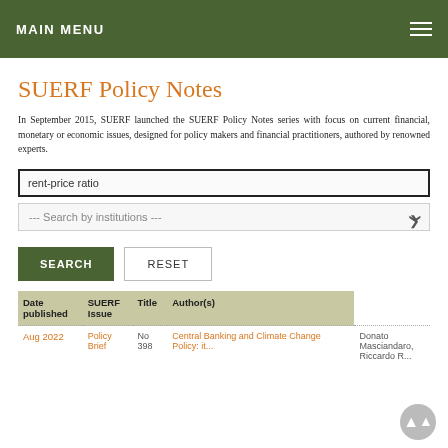MAIN MENU
SUERF Policy Notes
In September 2015, SUERF launched the SUERF Policy Notes series with focus on current financial, monetary or economic issues, designed for policy makers and financial practitioners, authored by renowned experts.
rent-price ratio [search input]
--- Search by institutions --- [dropdown]
SEARCH | RESET [buttons]
| Date published | SUERF Issue | Title | Author(s) |
| --- | --- | --- | --- |
| Aug 2022 | Policy Brief | No 398 | Central Banking and Climate Change Policy: it ... | Donato Masciandaro, Riccardo R... |